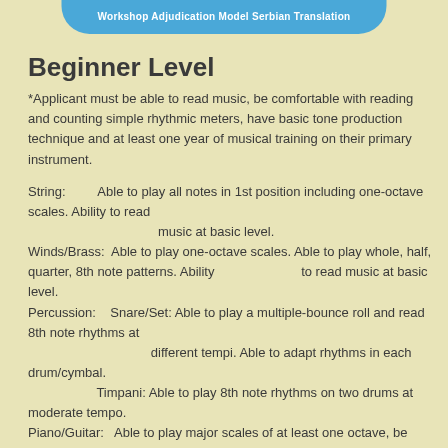Workshop Adjudication Model Serbian Translation
Beginner Level
*Applicant must be able to read music, be comfortable with reading and counting simple rhythmic meters, have basic tone production technique and at least one year of musical training on their primary instrument.
String: Able to play all notes in 1st position including one-octave scales. Ability to read music at basic level. Winds/Brass: Able to play one-octave scales. Able to play whole, half, quarter, 8th note patterns. Ability to read music at basic level. Percussion: Snare/Set: Able to play a multiple-bounce roll and read 8th note rhythms at different tempi. Able to adapt rhythms in each drum/cymbal. Timpani: Able to play 8th note rhythms on two drums at moderate tempo. Piano/Guitar: Able to play major scales of at least one octave, be familiar with basic chords in first position, and able to